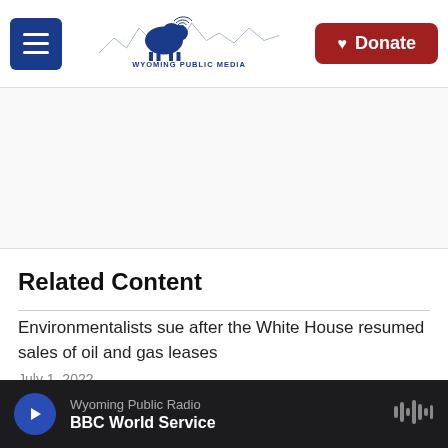Wyoming Public Media | Donate
Related Content
Environmentalists sue after the White House resumed sales of oil and gas leases
July 1, 2022
High school basketball players on Wyoming
Wyoming Public Radio | BBC World Service